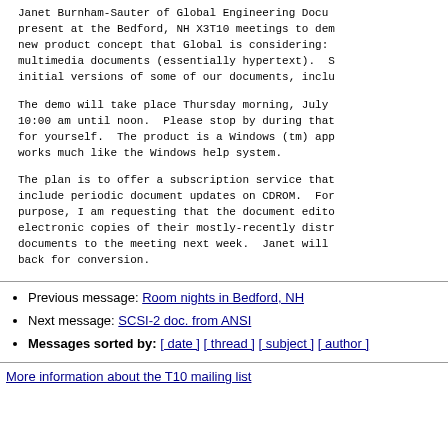Janet Burnham-Sauter of Global Engineering Docu present at the Bedford, NH X3T10 meetings to dem new product concept that Global is considering: multimedia documents (essentially hypertext). S initial versions of some of our documents, inclu
The demo will take place Thursday morning, July 10:00 am until noon. Please stop by during that for yourself. The product is a Windows (tm) app works much like the Windows help system.
The plan is to offer a subscription service that include periodic document updates on CDROM. For purpose, I am requesting that the document edito electronic copies of their mostly-recently distr documents to the meeting next week. Janet will back for conversion.
Previous message: Room nights in Bedford, NH
Next message: SCSI-2 doc. from ANSI
Messages sorted by: [ date ] [ thread ] [ subject ] [ author ]
More information about the T10 mailing list